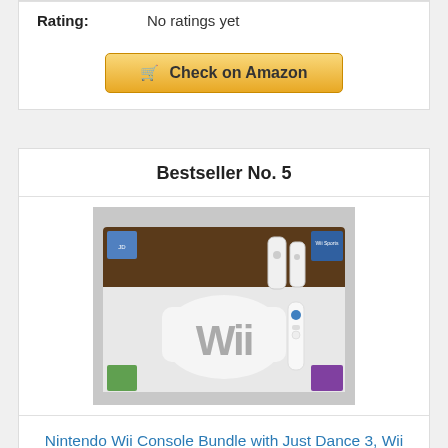Rating: No ratings yet
Check on Amazon
Bestseller No. 5
[Figure (photo): Nintendo Wii Console Bundle product box showing Wii console, Wii remote controllers, Wii Sports and Just Dance 3 game covers]
Nintendo Wii Console Bundle with Just Dance 3, Wii Sports & 2 Controllers
Rating: No ratings yet